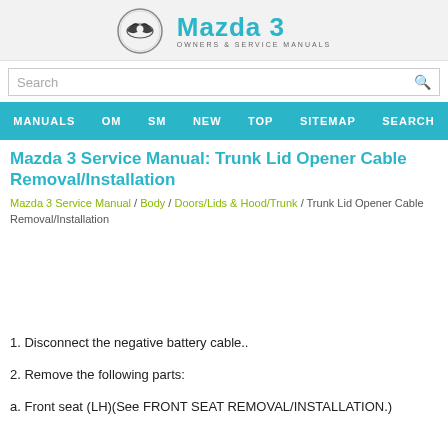[Figure (logo): Mazda 3 Owners & Service Manuals logo with Mazda wing emblem]
Search
MANUALS  OM  SM  NEW  TOP  SITEMAP  SEARCH
Mazda 3 Service Manual: Trunk Lid Opener Cable Removal/Installation
Mazda 3 Service Manual / Body / Doors/Lids & Hood/Trunk / Trunk Lid Opener Cable Removal/Installation
1. Disconnect the negative battery cable..
2. Remove the following parts:
a. Front seat (LH)(See FRONT SEAT REMOVAL/INSTALLATION.)